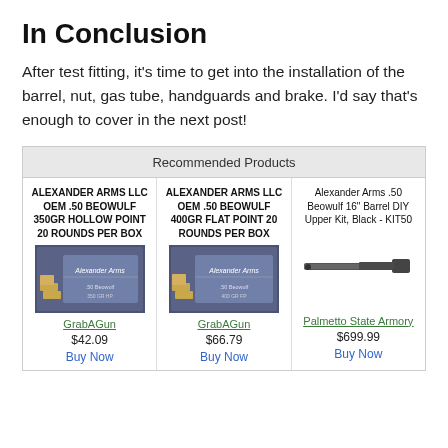In Conclusion
After test fitting, it’s time to get into the installation of the barrel, nut, gas tube, handguards and brake. I’d say that’s enough to cover in the next post!
| Product 1 | Product 2 | Product 3 |
| --- | --- | --- |
| ALEXANDER ARMS LLC OEM .50 BEOWULF 350GR HOLLOW POINT 20 ROUNDS PER BOX | ALEXANDER ARMS LLC OEM .50 BEOWULF 400GR FLAT POINT 20 ROUNDS PER BOX | Alexander Arms .50 Beowulf 16" Barrel DIY Upper Kit, Black - KIT50 |
| GrabAGun | GrabAGun | Palmetto State Armory |
| $42.09 | $66.79 | $699.99 |
| Buy Now | Buy Now | Buy Now |